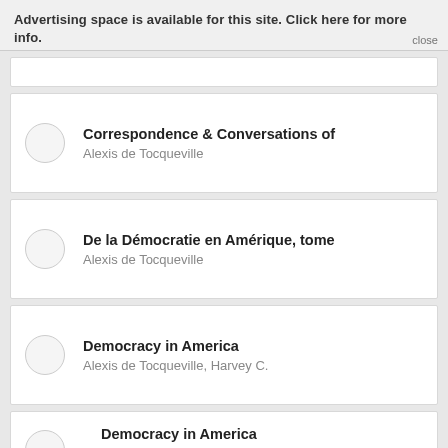Advertising space is available for this site. Click here for more info.
Correspondence & Conversations of / Alexis de Tocqueville
De la Démocratie en Amérique, tome / Alexis de Tocqueville
Democracy in America / Alexis de Tocqueville, Harvey C.
Democracy in America / Alexis de Tocqueville